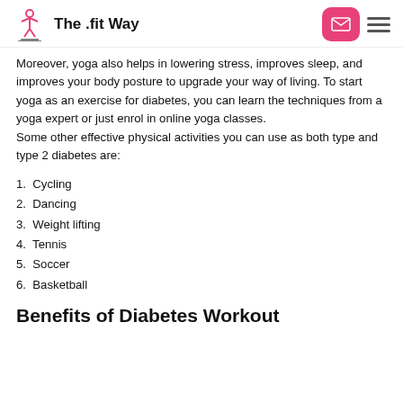The .fit Way
Moreover, yoga also helps in lowering stress, improves sleep, and improves your body posture to upgrade your way of living. To start yoga as an exercise for diabetes, you can learn the techniques from a yoga expert or just enrol in online yoga classes.
Some other effective physical activities you can use as both type and type 2 diabetes are:
1. Cycling
2. Dancing
3. Weight lifting
4. Tennis
5. Soccer
6. Basketball
Benefits of Diabetes Workout